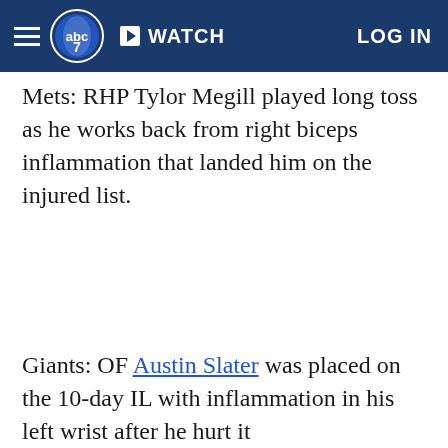ABC7 | WATCH | LOG IN
Mets: RHP Tylor Megill played long toss as he works back from right biceps inflammation that landed him on the injured list.
Giants: OF Austin Slater was placed on the 10-day IL with inflammation in his left wrist after he hurt it